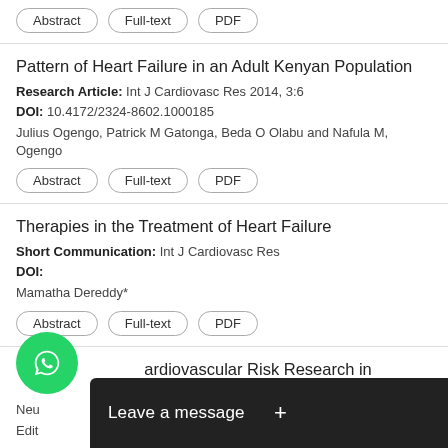Abstract | Full-text | PDF
Pattern of Heart Failure in an Adult Kenyan Population
Research Article: Int J Cardiovasc Res 2014, 3:6
DOI: 10.4172/2324-8602.1000185
Julius Ogengo, Patrick M Gatonga, Beda O Olabu and Nafula M, Ogengo
Abstract | Full-text | PDF
Therapies in the Treatment of Heart Failure
Short Communication: Int J Cardiovasc Res
DOI:
Mamatha Dereddy*
Abstract | Full-text | PDF
Cardiovascular Risk Research in
Other
Neu
Edit